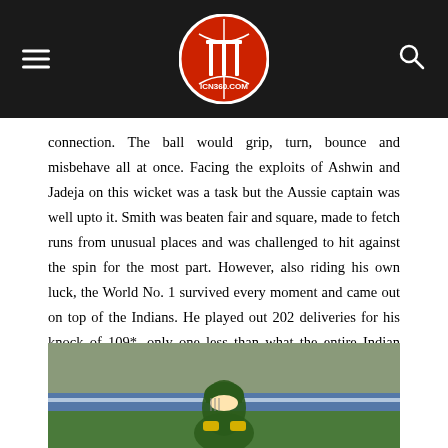ICN360.COM
connection. The ball would grip, turn, bounce and misbehave all at once. Facing the exploits of Ashwin and Jadeja on this wicket was a task but the Aussie captain was well upto it. Smith was beaten fair and square, made to fetch runs from unusual places and was challenged to hit against the spin for the most part. However, also riding his own luck, the World No. 1 survived every moment and came out on top of the Indians. He played out 202 deliveries for his knock of 109*, only one less than what the entire Indian team did in the second innings. It may not be the most beautiful, technical, brilliant or attractive innings but it was the practical impossibility that Smith battled that makes it most special.
[Figure (photo): Cricket player wearing green helmet and batting gloves, seen from behind/side, on a cricket ground with blue boundary rope and green field visible.]